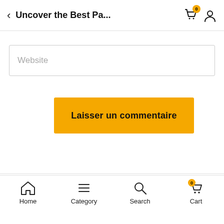< Uncover the Best Pa...
Website
Laisser un commentaire
Home  Category  Search  Cart